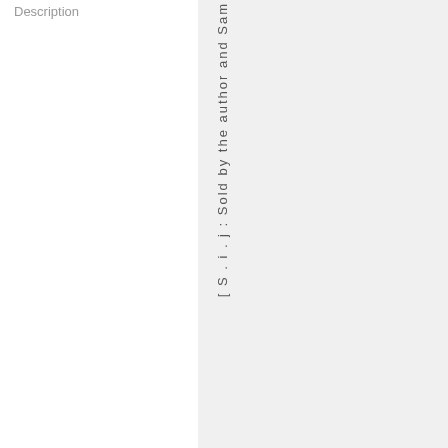Description
[ S . i . j : Sold by the author and Sam